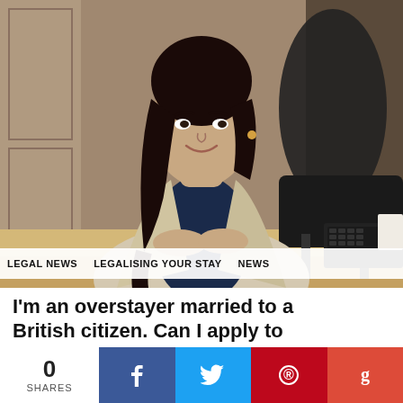[Figure (photo): A woman with dark hair wearing a beige blazer and navy turtleneck, seated at a desk with a keyboard, smiling, in an office setting with ornate background.]
LEGAL NEWS   LEGALISING YOUR STAY   NEWS
I'm an overstayer married to a British citizen. Can I apply to stay in the UK lawfully?
[Figure (photo): Partial image of colourful books or items at the bottom of the page.]
0 SHARES
f (Facebook share button)
🐦 (Twitter share button)
® (Pinterest share button)
g (Google+ share button)